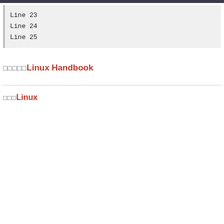Line 23
Line 24
Line 25
□□□□□Linux Handbook
□□□Linux